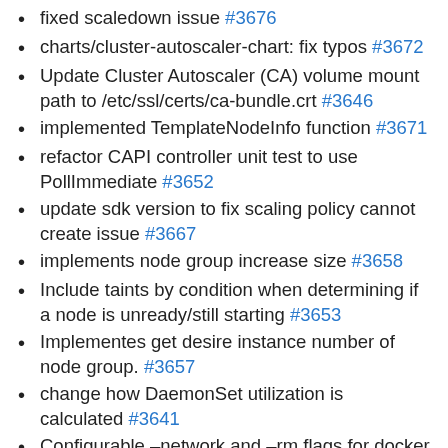fixed scaledown issue #3676
charts/cluster-autoscaler-chart: fix typos #3672
Update Cluster Autoscaler (CA) volume mount path to /etc/ssl/certs/ca-bundle.crt #3646
implemented TemplateNodeInfo function #3671
refactor CAPI controller unit test to use PollImmediate #3652
update sdk version to fix scaling policy cannot create issue #3667
implements node group increase size #3658
Include taints by condition when determining if a node is unready/still starting #3653
Implementes get desire instance number of node group. #3657
change how DaemonSet utilization is calculated #3641
Configurable –network and –rm flags for docker #3637
Reduce logging in scale calculation #3642